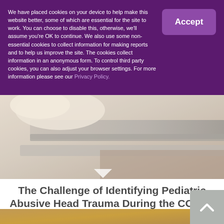We have placed cookies on your device to help make this website better, some of which are essential for the site to work. You can choose to disable this, otherwise, we'll assume you're OK to continue. We also use some non-essential cookies to collect information for making reports and to help us improve the site. The cookies collect information in an anonymous form. To control third party cookies, you can also adjust your browser settings. For more information please see our Privacy Policy.
[Figure (photo): Close-up blurred photo of what appears to be medical or hospital bedding/railing in muted beige and grey tones with a downward pointing arrow/chevron]
The Challenge of Identifying Pediatric Abusive Head Trauma During the COVID-19 Pandemic
[Figure (photo): Blurred photo with warm golden/yellow tones, partially visible at bottom of page]